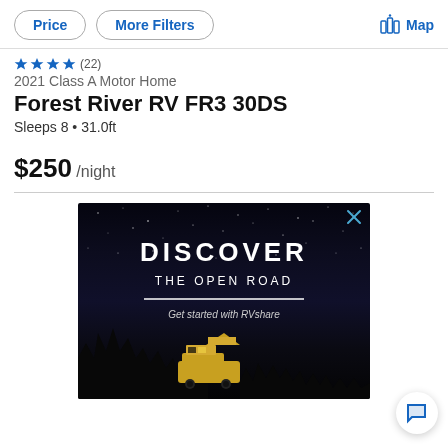Price | More Filters | Map
★★★★ (22)
2021 Class A Motor Home
Forest River RV FR3 30DS
Sleeps 8 • 31.0ft
$250 /night
[Figure (photo): Advertisement banner with dark night sky background showing text 'DISCOVER THE OPEN ROAD' with tagline 'Get started with RVshare' and an RV silhouette at the bottom]